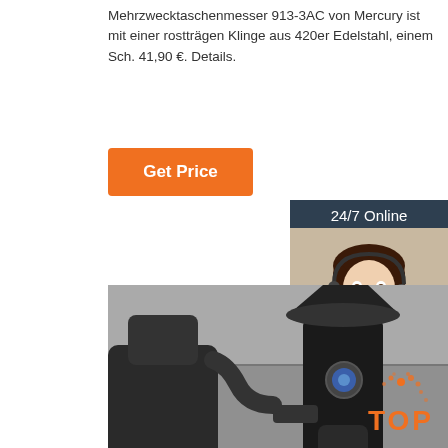Mehrzwecktaschenmesser 913-3AC von Mercury ist mit einer rostträgen Klinge aus 420er Edelstahl, einem Sch. 41,90 €. Details.
Get Price
24/7 Online
[Figure (photo): Woman with headset smiling, customer service representative]
Click here for free chat !
QUOTATION
[Figure (photo): Industrial machinery - large black mechanical equipment in a factory/warehouse setting]
[Figure (logo): TOP badge logo with orange dots above orange TOP text]